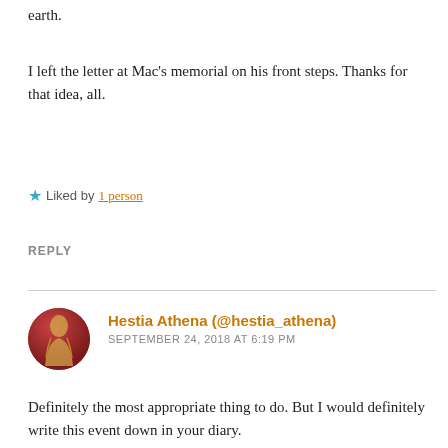earth.
I left the letter at Mac's memorial on his front steps. Thanks for that idea, all.
Liked by 1 person
REPLY
Hestia Athena (@hestia_athena)
SEPTEMBER 24, 2018 AT 6:19 PM
Definitely the most appropriate thing to do. But I would definitely write this event down in your diary.
That was very brave of you to even try to meet someone like that out of the blue.